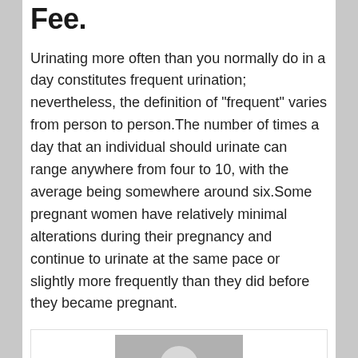Fee.
Urinating more often than you normally do in a day constitutes frequent urination; nevertheless, the definition of "frequent" varies from person to person.The number of times a day that an individual should urinate can range anywhere from four to 10, with the average being somewhere around six.Some pregnant women have relatively minimal alterations during their pregnancy and continue to urinate at the same pace or slightly more frequently than they did before they became pregnant.
[Figure (photo): Avatar/profile image placeholder showing a generic user silhouette icon in gray]